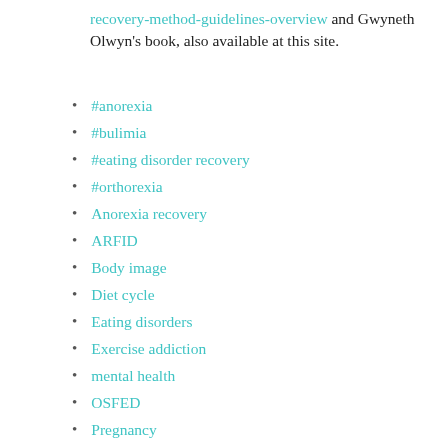recovery-method-guidelines-overview and Gwyneth Olwyn's book, also available at this site.
#anorexia
#bulimia
#eating disorder recovery
#orthorexia
Anorexia recovery
ARFID
Body image
Diet cycle
Eating disorders
Exercise addiction
mental health
OSFED
Pregnancy
Recovery tips
Recovery Post disclaimer